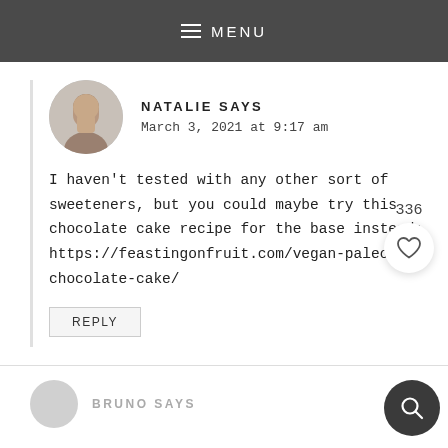MENU
NATALIE SAYS
March 3, 2021 at 9:17 am
I haven't tested with any other sort of sweeteners, but you could maybe try this chocolate cake recipe for the base instead: https://feastingonfruit.com/vegan-paleo-chocolate-cake/
336
REPLY
BRUNO SAYS